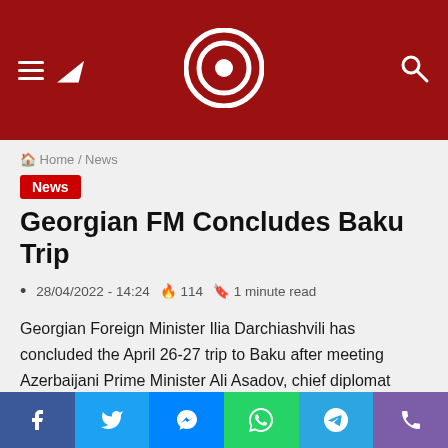Site header with logo, hamburger menu, moon icon, and search icon
Home / News
News
Georgian FM Concludes Baku Trip
28/04/2022 - 14:24  114  1 minute read
Georgian Foreign Minister Ilia Darchiashvili has concluded the April 26-27 trip to Baku after meeting Azerbaijani Prime Minister Ali Asadov, chief diplomat Jeyhun Bayramov, and National Assembly Speaker Sahiba Gafarova.
Social share bar: Facebook, Twitter, Messenger, WhatsApp, Telegram, Phone